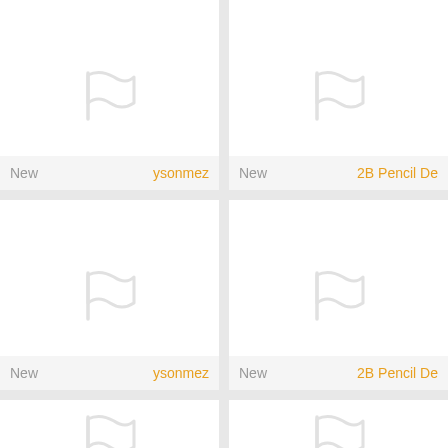[Figure (screenshot): Grid of four app cells, each showing a flag icon placeholder and a bottom bar with 'New' label and username. Left cells show 'ysonmez', right cells show '2B Pencil De' (truncated). Partial top row and partial bottom row visible. Vertical and horizontal dividers separate the cells.]
New
ysonmez
New
2B Pencil De
New
ysonmez
New
2B Pencil De